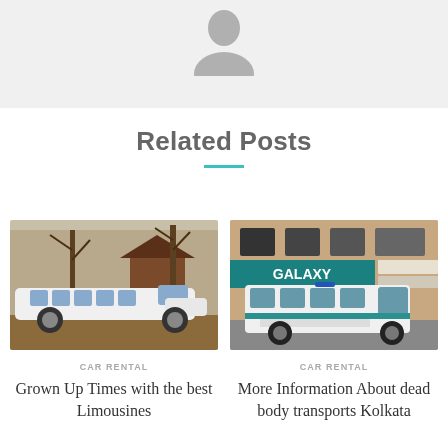[Figure (photo): Grey background with a person avatar silhouette at top center]
Related Posts
[Figure (photo): White stretch limousine parked on a suburban street with bare trees in the background]
CAR RENTAL
Grown Up Times with the best Limousines
[Figure (photo): White van/ambulance parked on a street in front of a building with a Galaxy sign]
CAR RENTAL
More Information About dead body transports Kolkata